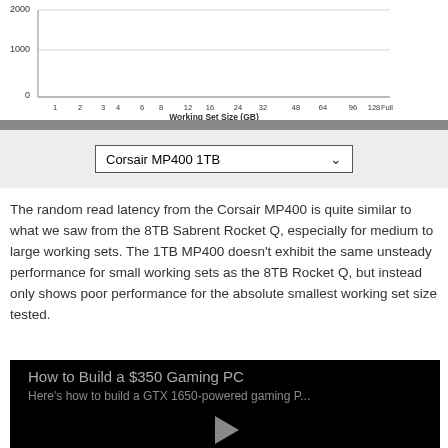[Figure (continuous-plot): Partial view of a line/bar chart showing random read latency vs Working Set Size (GB). Y-axis shows values 0, 1000, 2000. X-axis labels: 1, 2, 3, 4, 6, 8, 12, 16, 24, 32, 48, 64, 96, 128, Full. X-axis title: Working Set Size (GB).]
Corsair MP400 1TB
The random read latency from the Corsair MP400 is quite similar to what we saw from the 8TB Sabrent Rocket Q, especially for medium to large working sets. The 1TB MP400 doesn't exhibit the same unsteady performance for small working sets as the 8TB Rocket Q, but instead only shows poor performance for the absolute smallest working set size tested.
[Figure (screenshot): Video thumbnail with black background. Title text: 'How to Build a $350 Gaming PC'. Subtitle: 'Here's how to build a GTX 1650-powered gaming P...'. A grey play button triangle is centered at the bottom.]